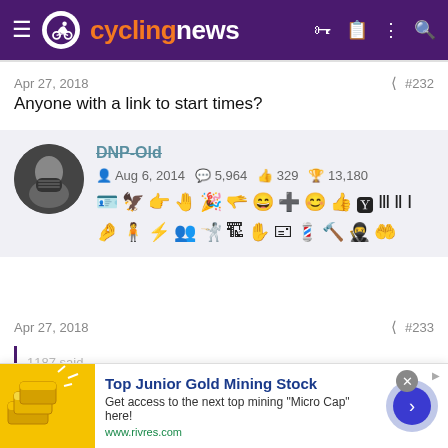cyclingnews
Apr 27, 2018 #232
Anyone with a link to start times?
DNP-Old Aug 6, 2014 5,964 329 13,180
Apr 27, 2018 #233
[Figure (screenshot): Advertisement banner: Top Junior Gold Mining Stock. Get access to the next top mining "Micro Cap" here! www.rivres.com]
Top Junior Gold Mining Stock — Get access to the next top mining "Micro Cap" here! www.rivres.com